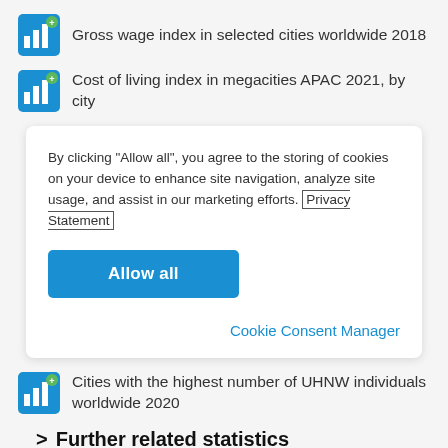Gross wage index in selected cities worldwide 2018
Cost of living index in megacities APAC 2021, by city
By clicking “Allow all”, you agree to the storing of cookies on your device to enhance site navigation, analyze site usage, and assist in our marketing efforts. Privacy Statement
Allow all
Cookie Consent Manager
Cities with the highest number of UHNW individuals worldwide 2020
Further related statistics